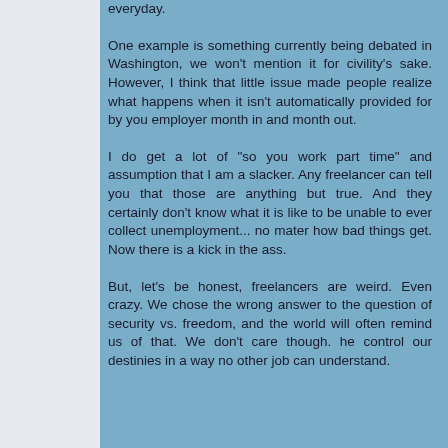everyday.
One example is something currently being debated in Washington, we won't mention it for civility's sake. However, I think that little issue made people realize what happens when it isn't automatically provided for by you employer month in and month out.
I do get a lot of "so you work part time" and assumption that I am a slacker. Any freelancer can tell you that those are anything but true. And they certainly don't know what it is like to be unable to ever collect unemployment... no mater how bad things get. Now there is a kick in the ass.
But, let's be honest, freelancers are weird. Even crazy. We chose the wrong answer to the question of security vs. freedom, and the world will often remind us of that. We don't care though. he control our destinies in a way no other job can understand.